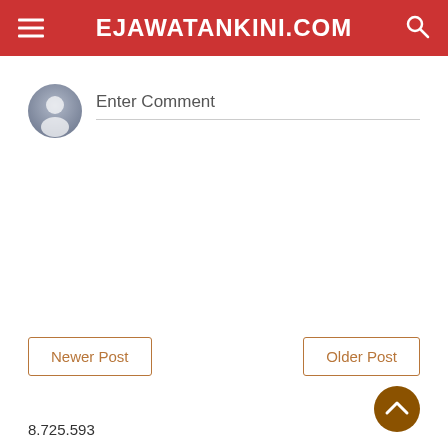EJAWATANKINI.COM
Enter Comment
Newer Post
Older Post
8.725.593